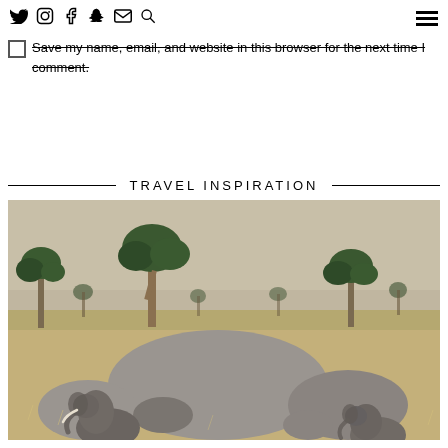Twitter Instagram Facebook Snapchat Email Search — Navigation menu
Save my name, email, and website in this browser for the next time I comment.
POST COMMENT
TRAVEL INSPIRATION
[Figure (photo): Safari landscape with elephants in the foreground near large boulders, dry grassland with acacia trees in the background under a hazy sky.]